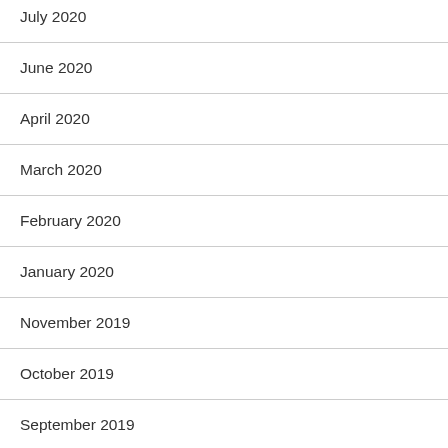July 2020
June 2020
April 2020
March 2020
February 2020
January 2020
November 2019
October 2019
September 2019
August 2019